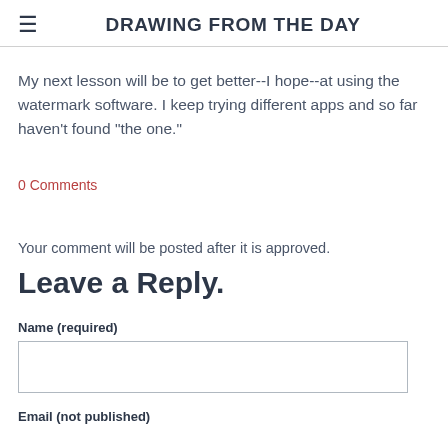DRAWING FROM THE DAY
My next lesson will be to get better--I hope--at using the watermark software. I keep trying different apps and so far haven't found "the one."
0 Comments
Your comment will be posted after it is approved.
Leave a Reply.
Name (required)
Email (not published)